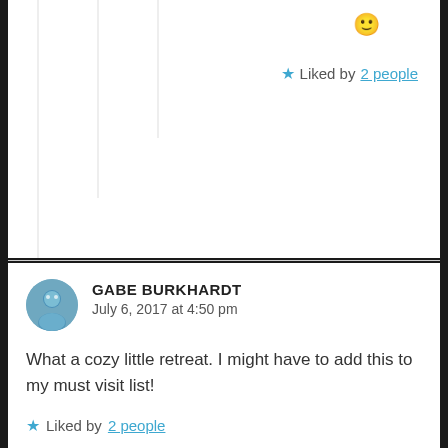[Figure (illustration): Smiley face emoji 🙂 displayed in yellow]
★ Liked by 2 people
[Figure (photo): Circular avatar photo of Gabe Burkhardt]
GABE BURKHARDT
July 6, 2017 at 4:50 pm
What a cozy little retreat. I might have to add this to my must visit list!
★ Liked by 2 people